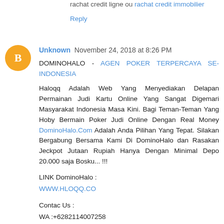rachat credit ligne ou rachat credit immobilier
Reply
Unknown  November 24, 2018 at 8:26 PM
DOMINOHALO  -  AGEN POKER TERPERCAYA SE-INDONESIA
Haloqq Adalah Web Yang Menyediakan Delapan Permainan Judi Kartu Online Yang Sangat Digemari Masyarakat Indonesia Masa Kini. Bagi Teman-Teman Yang Hoby Bermain Poker Judi Online Dengan Real Money DominoHalo.Com Adalah Anda Pilihan Yang Tepat. Silakan Bergabung Bersama Kami Di DominoHalo dan Rasakan Jeckpot Jutaan Rupiah Hanya Dengan Minimal Depo 20.000 saja Bosku... !!!
LINK DominoHalo :
WWW.HLOQQ.CO
Contac Us :
WA :+6282114007258